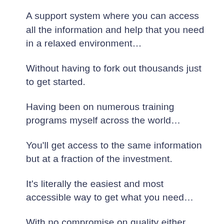A support system where you can access all the information and help that you need in a relaxed environment…
Without having to fork out thousands just to get started.
Having been on numerous training programs myself across the world…
You'll get access to the same information but at a fraction of the investment.
It's literally the easiest and most accessible way to get what you need…
With no compromise on quality either.